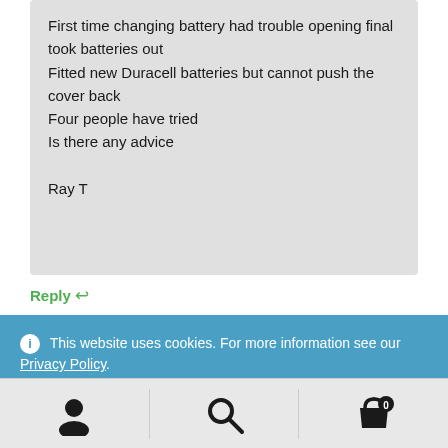First time changing battery had trouble opening final took batteries out
Fitted new Duracell batteries but cannot push the cover back
Four people have tried
Is there any advice

Ray T
Reply ↩
ℹ This website uses cookies. For more information see our Privacy Policy. Dismiss